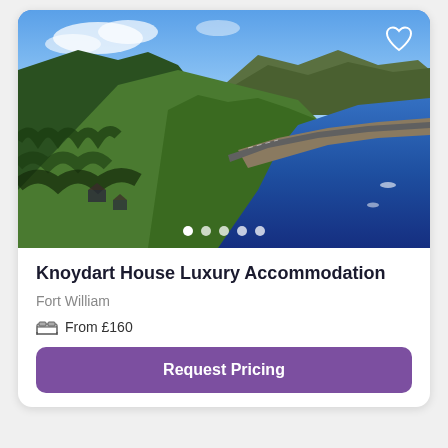[Figure (photo): Aerial landscape photo of a Scottish loch (likely Loch Linnhe near Knoydart/Fort William). Green forested hillsides with a road running along the shoreline, deep blue loch water on the right, mountains in the background under a partly cloudy sky.]
Knoydart House Luxury Accommodation
Fort William
From £160
Request Pricing